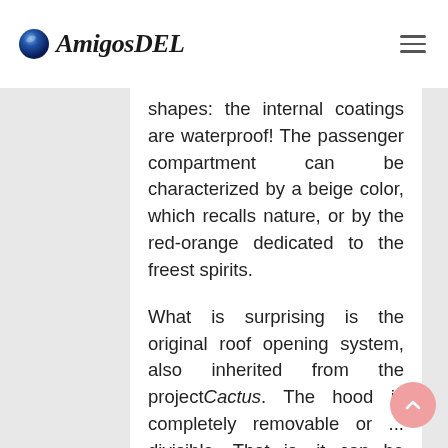AmigosDEL
shapes: the internal coatings are waterproof! The passenger compartment can be characterized by a beige color, which recalls nature, or by the red-orange dedicated to the freest spirits.

What is surprising is the original roof opening system, also inherited from the projectCactus. The hood is completely removable or ... divisible. That is, it can be disassembled and closed thanks to a retractable side system, with large transparent windows, or it can be opened only in front or behind, sideways or completely ... in short, the configurations are numerous and all ready to meet the needs of the moment.